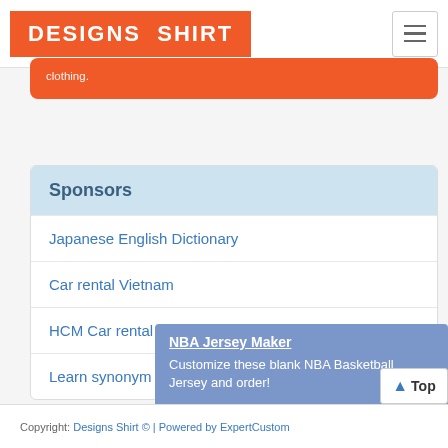DESIGNS SHIRT
clothing.
Sponsors
Japanese English Dictionary
Car rental Vietnam
HCM Car rental
Learn synonym
NBA Jersey Maker
Customize these blank NBA Basketball Jersey and order!
Copyright: Designs Shirt © | Powered by ExpertCustom